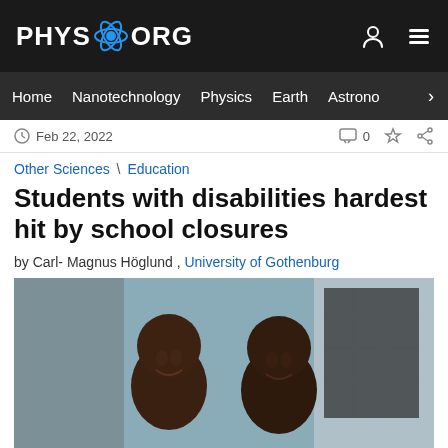PHYS.ORG
Home  Nanotechnology  Physics  Earth  Astrono
Feb 22, 2022  0
Other Sciences \ Education
Students with disabilities hardest hit by school closures
by Carl- Magnus Höglund , University of Gothenburg
[Figure (photo): Two young children smiling, photographed outdoors near a building wall]